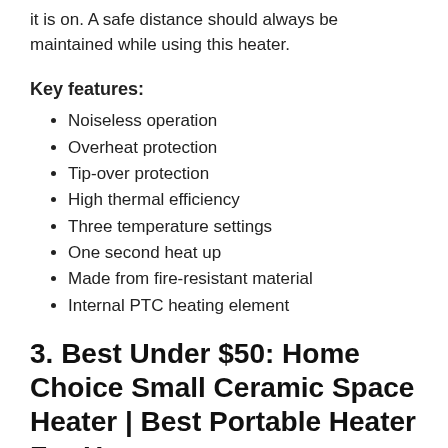it is on. A safe distance should always be maintained while using this heater.
Key features:
Noiseless operation
Overheat protection
Tip-over protection
High thermal efficiency
Three temperature settings
One second heat up
Made from fire-resistant material
Internal PTC heating element
3. Best Under $50: Home Choice Small Ceramic Space Heater | Best Portable Heater For Home